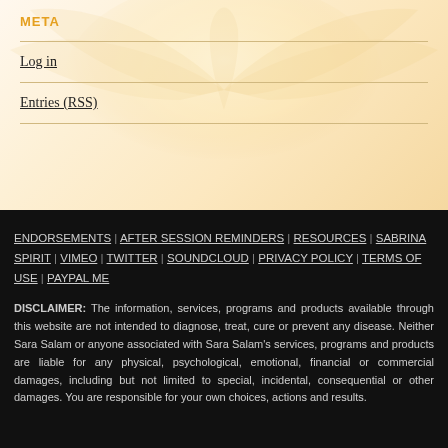META
Log in
Entries (RSS)
ENDORSEMENTS | AFTER SESSION REMINDERS | RESOURCES | SABRINA SPIRIT | VIMEO | TWITTER | SOUNDCLOUD | PRIVACY POLICY | TERMS OF USE | PAYPAL ME
DISCLAIMER: The information, services, programs and products available through this website are not intended to diagnose, treat, cure or prevent any disease. Neither Sara Salam or anyone associated with Sara Salam's services, programs and products are liable for any physical, psychological, emotional, financial or commercial damages, including but not limited to special, incidental, consequential or other damages. You are responsible for your own choices, actions and results.